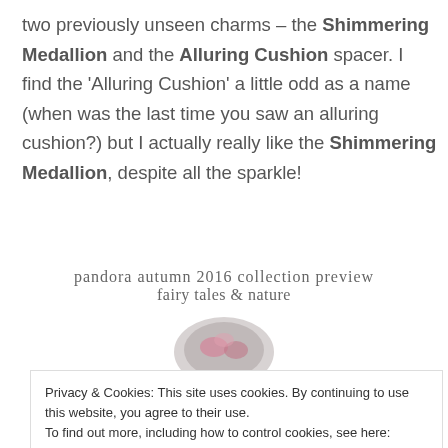two previously unseen charms – the Shimmering Medallion and the Alluring Cushion spacer. I find the 'Alluring Cushion' a little odd as a name (when was the last time you saw an alluring cushion?) but I actually really like the Shimmering Medallion, despite all the sparkle!
[Figure (illustration): Handwritten text reading 'pandora autumn 2016 collection preview' on first line and 'fairy tales & nature' on second line, with a Pandora charm partially visible below]
Privacy & Cookies: This site uses cookies. By continuing to use this website, you agree to their use.
To find out more, including how to control cookies, see here: Cookie Policy
Close and accept